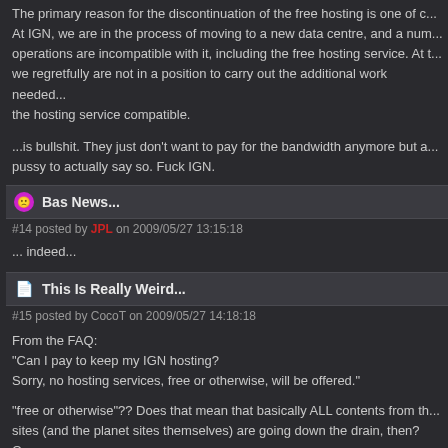The primary reason for the discontinuation of the free hosting is one of c... At IGN, we are in the process of moving to a new data centre, and a nu... operations are incompatible with it, including the free hosting service. At ... we regretfully are not in a position to carry out the additional work neede... the hosting service compatible.
...is bullshit. They just don't want to pay for the bandwidth anymore but a... pussy to actually say so. Fuck IGN.
Bas News...
#14 posted by JPL on 2009/05/27 13:15:18
... indeed...
This Is Really Weird...
#15 posted by CocoT on 2009/05/27 14:18:18
From the FAQ:
"Can I pay to keep my IGN hosting?
Sorry, no hosting services, free or otherwise, will be offered."
"free or otherwise"?? Does that mean that basically ALL contents from th... sites (and the planet sites themselves) are going down the drain, then? O... become mere news sites?
This is starting to sound like a bad dream... The email was somehow re-s... morning, and it does come from the gamespy network. I'm also surprised... the planet sites have been reflecting this in their news so far. Weird.
#16 posted by mwh on 2009/05/27 15:31:22